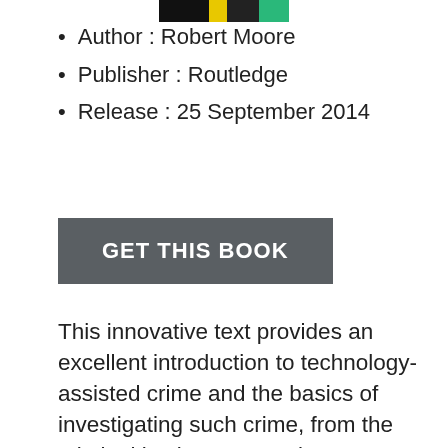[Figure (other): Partial book cover image showing colored segments at top]
Author : Robert Moore
Publisher : Routledge
Release : 25 September 2014
[Figure (other): GET THIS BOOK button with dark gray background]
This innovative text provides an excellent introduction to technology-assisted crime and the basics of investigating such crime, from the criminal justice perspective. It presents clear, concise explanations for students and professionals, who need not be technically proficient to find the material easy-to-understand and practical. The book begins by identifying and defining the most prevalent and emerging high-technology crimes — and exploring their history, their original methods of commission, and their